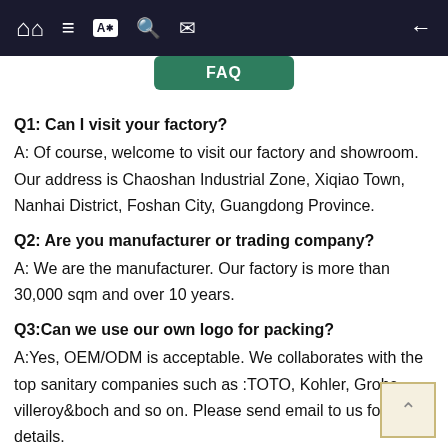FAQ
Q1: Can I visit your factory?
A: Of course, welcome to visit our factory and showroom. Our address is Chaoshan Industrial Zone, Xiqiao Town, Nanhai District, Foshan City, Guangdong Province.
Q2: Are you manufacturer or trading company?
A: We are the manufacturer. Our factory is more than 30,000 sqm and over 10 years.
Q3:Can we use our own logo for packing?
A:Yes, OEM/ODM is acceptable. We collaborates with the top sanitary companies such as :TOTO, Kohler, Grohe, villeroy&boch and so on. Please send email to us for more details.
Q4: You made customized cabinet or standard cabinet?
A:Yes, of course. We accept both customized vanities and standard vanities. Many designers have the long-term cooperative